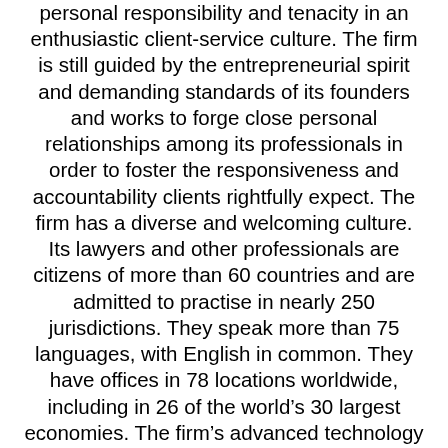personal responsibility and tenacity in an enthusiastic client-service culture. The firm is still guided by the entrepreneurial spirit and demanding standards of its founders and works to forge close personal relationships among its professionals in order to foster the responsiveness and accountability clients rightfully expect. The firm has a diverse and welcoming culture. Its lawyers and other professionals are citizens of more than 60 countries and are admitted to practise in nearly 250 jurisdictions. They speak more than 75 languages, with English in common. They have offices in 78 locations worldwide, including in 26 of the world's 30 largest economies. The firm's advanced technology and management systems include a single, shared global technology platform for client intake, email and billing systems; global practice standards; a quality audit program; and a worldwide conflicts